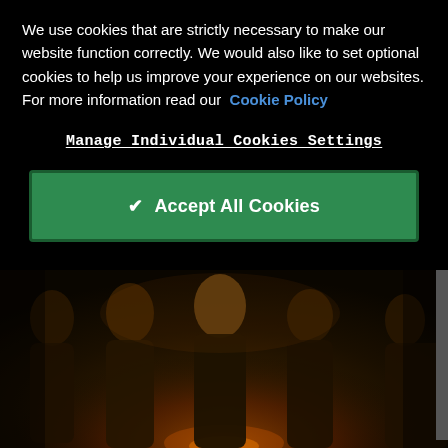We use cookies that are strictly necessary to make our website function correctly. We would also like to set optional cookies to help us improve your experience on our websites. For more information read our Cookie Policy
Manage Individual Cookies Settings
✔ Accept All Cookies
[Figure (photo): Group photo of five people wearing dark clothing, posed together with arms crossed, lit with warm/orange dramatic lighting against a dark background]